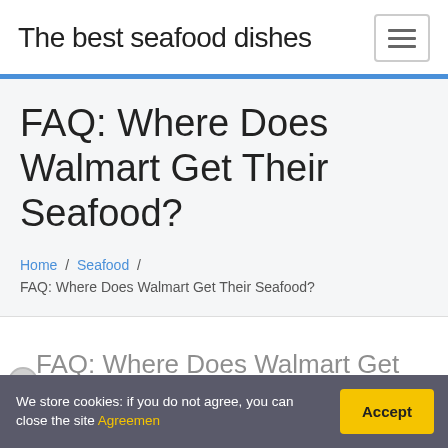The best seafood dishes
FAQ: Where Does Walmart Get Their Seafood?
Home / Seafood / FAQ: Where Does Walmart Get Their Seafood?
FAQ: Where Does Walmart Get Their Seafood?
We store cookies: if you do not agree, you can close the site Agreemen